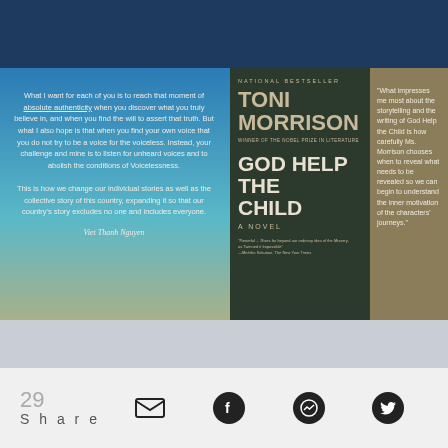[Figure (illustration): Three-panel layout: left panel shows a sunset sky gradient with a quote by Viet Thanh Nguyen about voicelessness; center panel shows the book cover of 'God Help the Child' by Toni Morrison (National Bestseller, Nobel Prize winner); right panel shows a tan background with a quote about Toni Morrison's storytelling.]
What I want for each of you is to reach that moment of absolute authenticity when you discover what you truly believe in, and when you find the will to assert that truth. But what I also hope is that when you find your own voice that you do not try to be a voice for the voiceless. Instead, your challenge and mine is to listen for unheard voices and to abolish the conditions of Voicelessness. This is how we change our individual stories as well as the collective story of this country, expanding it so that our country's story excludes no one and includes everyone.
Viet Thanh Nguyen
"What impresses me most about the storytelling and the writing of God Help the Child is how carefully Ms. Morrison chooses when to reveal what needs to be revealed so we can begin to understand the inner motivation of the characters' journeys."
29 Share